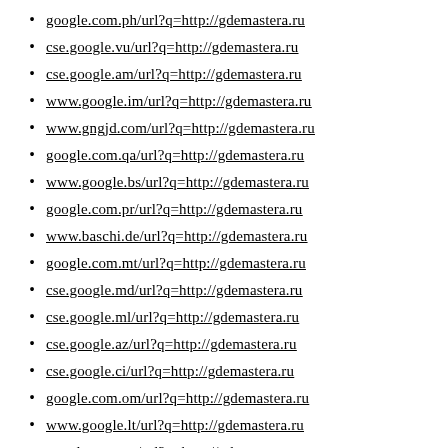google.com.ph/url?q=http://gdemastera.ru
cse.google.vu/url?q=http://gdemastera.ru
cse.google.am/url?q=http://gdemastera.ru
www.google.im/url?q=http://gdemastera.ru
www.gngjd.com/url?q=http://gdemastera.ru
google.com.qa/url?q=http://gdemastera.ru
www.google.bs/url?q=http://gdemastera.ru
google.com.pr/url?q=http://gdemastera.ru
www.baschi.de/url?q=http://gdemastera.ru
google.com.mt/url?q=http://gdemastera.ru
cse.google.md/url?q=http://gdemastera.ru
cse.google.ml/url?q=http://gdemastera.ru
cse.google.az/url?q=http://gdemastera.ru
cse.google.ci/url?q=http://gdemastera.ru
google.com.om/url?q=http://gdemastera.ru
www.google.lt/url?q=http://gdemastera.ru
google.com.py/url?q=http://gdemastera.ru
www.google.lv/url?q=http://gdemastera.ru
www.google.rw/url?q=http://gdemastera.ru